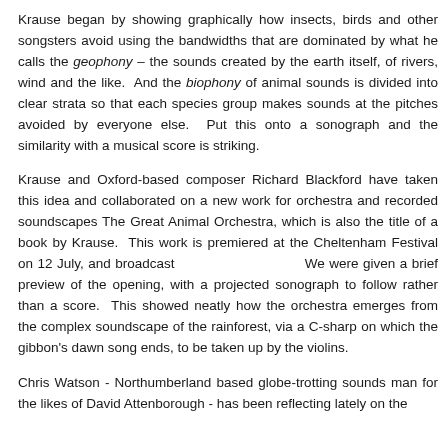Krause began by showing graphically how insects, birds and other songsters avoid using the bandwidths that are dominated by what he calls the geophony – the sounds created by the earth itself, of rivers, wind and the like.  And the biophony of animal sounds is divided into clear strata so that each species group makes sounds at the pitches avoided by everyone else.  Put this onto a sonograph and the similarity with a musical score is striking.
Krause and Oxford-based composer Richard Blackford have taken this idea and collaborated on a new work for orchestra and recorded soundscapes The Great Animal Orchestra, which is also the title of a book by Krause.  This work is premiered at the Cheltenham Festival on 12 July, and broadcast                              We were given a brief preview of the opening, with a projected sonograph to follow rather than a score.  This showed neatly how the orchestra emerges from the complex soundscape of the rainforest, via a C-sharp on which the gibbon's dawn song ends, to be taken up by the violins.
Chris Watson - Northumberland based globe-trotting sounds man for the likes of David Attenborough - has been reflecting lately on the